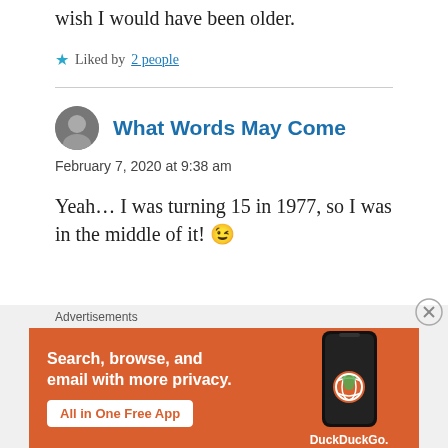wish I would have been older.
★ Liked by 2 people
What Words May Come
February 7, 2020 at 9:38 am
Yeah… I was turning 15 in 1977, so I was in the middle of it! 😉
Advertisements
[Figure (screenshot): DuckDuckGo advertisement banner: 'Search, browse, and email with more privacy. All in One Free App' with phone graphic and DuckDuckGo logo]